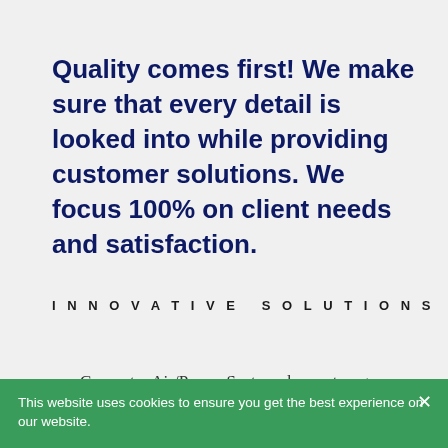Quality comes first! We make sure that every detail is looked into while providing customer solutions. We focus 100% on client needs and satisfaction.
INNOVATIVE SOLUTIONS
Computer Air/Power Systems has a strong
This website uses cookies to ensure you get the best experience on our website.